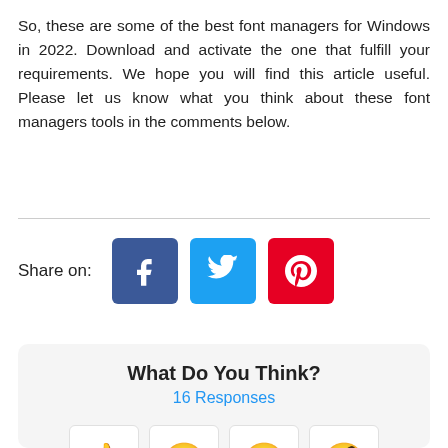So, these are some of the best font managers for Windows in 2022. Download and activate the one that fulfill your requirements. We hope you will find this article useful. Please let us know what you think about these font managers tools in the comments below.
[Figure (infographic): Share on: Facebook, Twitter, Pinterest social media buttons]
What Do You Think?
16 Responses
[Figure (infographic): Four emoji reaction cards: thumbs up, winking/kissing face, heart-eyes face, and thinking/monocle face]